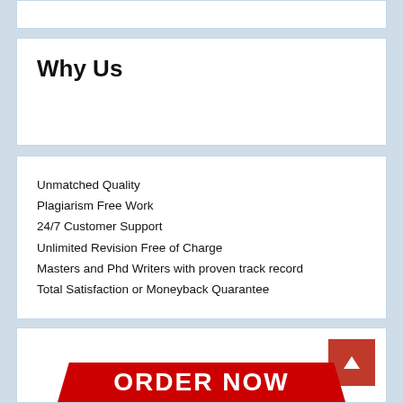Why Us
Unmatched Quality
Plagiarism Free Work
24/7 Customer Support
Unlimited Revision Free of Charge
Masters and Phd Writers with proven track record
Total Satisfaction or Moneyback Quarantee
[Figure (other): Red ORDER NOW banner partially visible at bottom of page with a back-to-top button (red square with upward chevron arrow)]